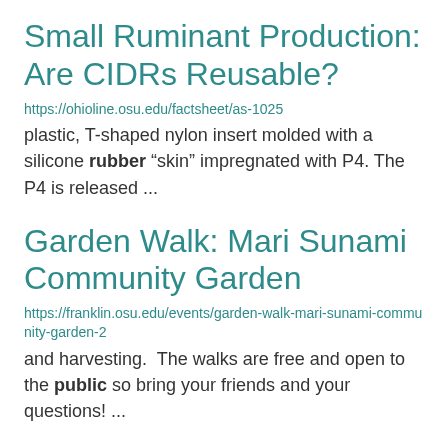Small Ruminant Production: Are CIDRs Reusable?
https://ohioline.osu.edu/factsheet/as-1025
plastic, T-shaped nylon insert molded with a silicone rubber “skin” impregnated with P4. The P4 is released ...
Garden Walk: Mari Sunami Community Garden
https://franklin.osu.edu/events/garden-walk-mari-sunami-community-garden-2
and harvesting.  The walks are free and open to the public so bring your friends and your questions! ...